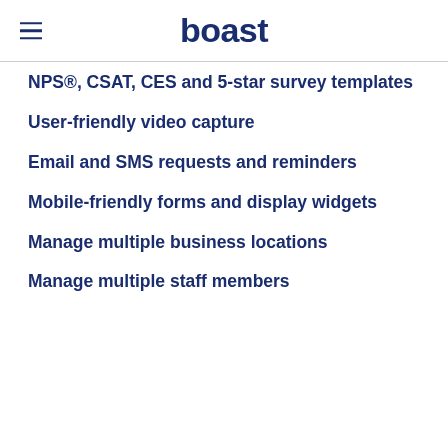boast
NPS®, CSAT, CES and 5-star survey templates
User-friendly video capture
Email and SMS requests and reminders
Mobile-friendly forms and display widgets
Manage multiple business locations
Manage multiple staff members